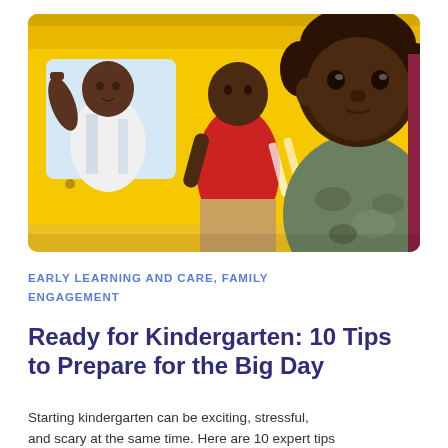[Figure (photo): Children playing on or near a bright yellow school bus. In the foreground, a young Black boy in a green camo shirt looks at the camera. Behind him, a child in a red shirt stands, and another child in a white shirt is visible at a bus window. A partial figure in a maroon top is visible at the right edge.]
EARLY LEARNING AND CARE, FAMILY ENGAGEMENT
Ready for Kindergarten: 10 Tips to Prepare for the Big Day
Starting kindergarten can be exciting, stressful, and scary at the same time. Here are 10 expert tips